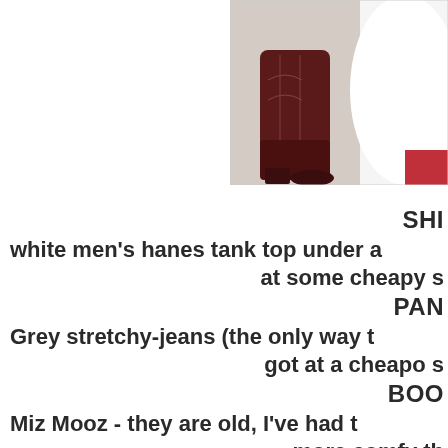[Figure (photo): Photo of legs/boots area, showing dark maroon/brown cowboy boots and a white dress hem, cropped at top right of page]
SHI(rt - truncated)
white men's hanes tank top under a (truncated)
at some cheapy s(tore - truncated)
PAN(ts - truncated)
Grey stretchy-jeans (the only way t(o - truncated)
got at a cheapo s(tore - truncated)
BOO(ts - truncated)
Miz Mooz - they are old, I've had t(hem - truncated)
more comfy th(an - truncated)
BELT or BLET as(- truncated)
I don't know but I got it on cleara(nce - truncated)
years ago (truncated)